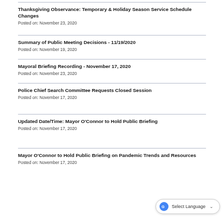Thanksgiving Observance: Temporary & Holiday Season Service Schedule Changes
Posted on: November 23, 2020
Summary of Public Meeting Decisions - 11/19/2020
Posted on: November 19, 2020
Mayoral Briefing Recording - November 17, 2020
Posted on: November 23, 2020
Police Chief Search Committee Requests Closed Session
Posted on: November 17, 2020
Updated Date/Time: Mayor O'Connor to Hold Public Briefing
Posted on: November 17, 2020
Mayor O'Connor to Hold Public Briefing on Pandemic Trends and Resources
Posted on: November 17, 2020